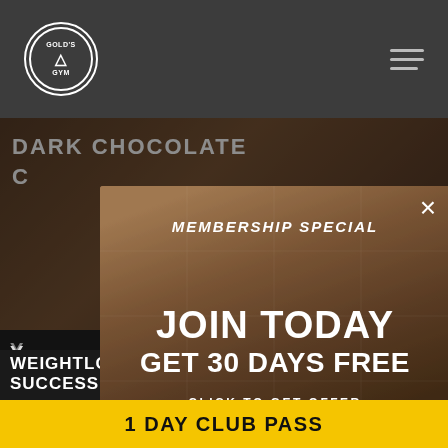[Figure (screenshot): Gold's Gym website screenshot showing a membership special popup overlay. Dark header with Gold's Gym logo and hamburger menu. Background shows 'DARK CHOCOLATE' text and fitness content. Modal popup reads 'MEMBERSHIP SPECIAL / JOIN TODAY / GET 30 DAYS FREE / CLICK TO GET OFFER' with close X button. Bottom yellow banner reads '1 DAY CLUB PASS'.]
1 DAY CLUB PASS